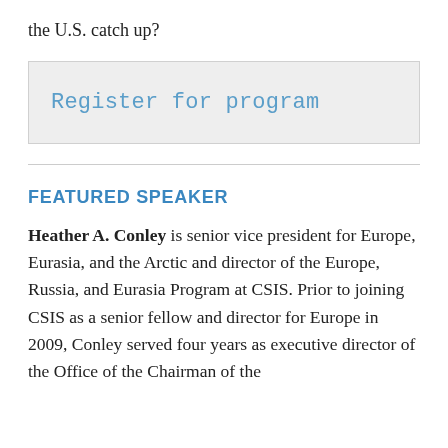the U.S. catch up?
Register for program
FEATURED SPEAKER
Heather A. Conley is senior vice president for Europe, Eurasia, and the Arctic and director of the Europe, Russia, and Eurasia Program at CSIS. Prior to joining CSIS as a senior fellow and director for Europe in 2009, Conley served four years as executive director of the Office of the Chairman of the